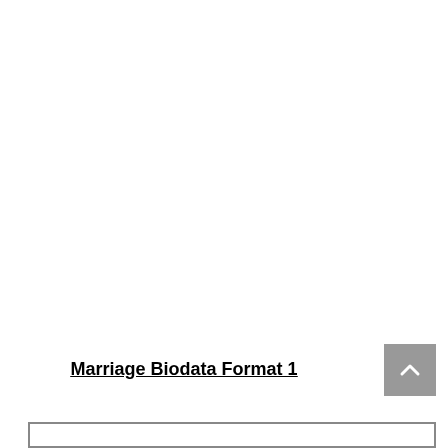Marriage Biodata Format 1
[Figure (other): Gray scroll-to-top button with upward chevron arrow]
[Figure (other): Bottom of a bordered white box/frame, partially visible at bottom of page]